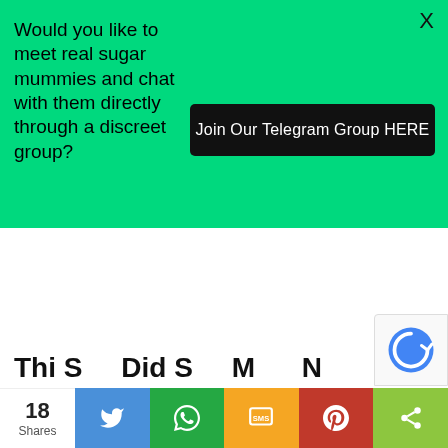Would you like to meet real sugar mummies and chat with them directly through a discreet group?
Join Our Telegram Group HERE
X
18 Shares
Thi S... Did S... M... N...